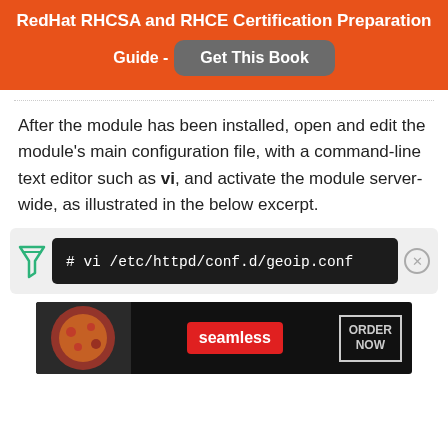RedHat RHCSA and RHCE Certification Preparation Guide - Get This Book
After the module has been installed, open and edit the module's main configuration file, with a command-line text editor such as vi, and activate the module server-wide, as illustrated in the below excerpt.
[Figure (screenshot): Terminal code block showing: # vi /etc/httpd/conf.d/geoip.conf]
[Figure (photo): Advertisement banner for Seamless food ordering with pizza image, Seamless red button, and ORDER NOW button]